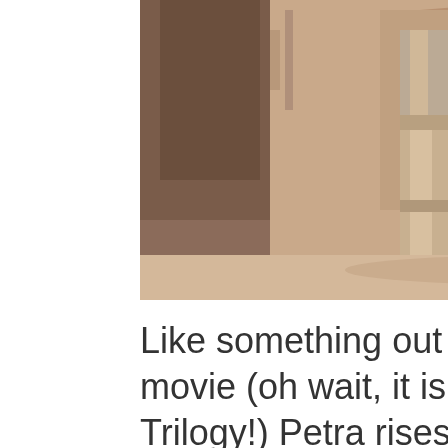[Figure (photo): Photograph of the Treasury (Al-Khazneh) at Petra, Jordan. A large ornate rose-red stone facade carved into the rock face is visible, with columns and classical architectural details. In the foreground, horses and handlers stand on the sandy ground in front of the monument, with dramatic rocky cliffs on either side.]
Like something out of an Indiana Jones movie (oh wait, it is from the third in the Trilogy!) Petra rises up as you enter the tight canyon, often by horse, carved right out of the rock face in front. There is more to this location that what you see in this one